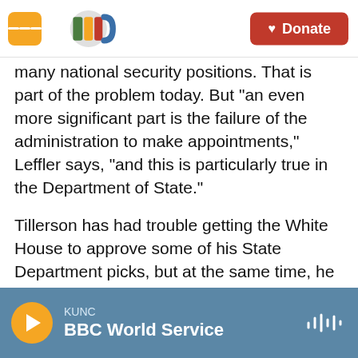KUNC navigation bar with logo and Donate button
many national security positions. That is part of the problem today. But "an even more significant part is the failure of the administration to make appointments," Leffler says, "and this is particularly true in the Department of State."
Tillerson has had trouble getting the White House to approve some of his State Department picks, but at the same time, he is also redesigning the agency and cutting many positions, taking a sort of corporate approach. Tillerson is a former Exxon Mobil Corp. CEO with no prior government experience.
KUNC BBC World Service